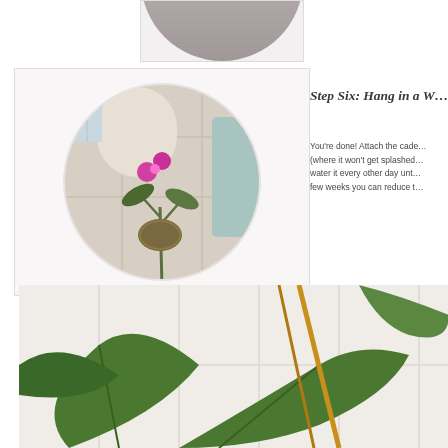[Figure (photo): Partial top of a circular image showing bottom edge of a rounded gray object, cropped at top of page]
[Figure (photo): Orchid plant with pink flowers mounted in a wire basket hanging in a bathroom shower area, shown inside a circular crop on a light beige card]
Step Six: Hang in a W…
You're done! Attach the cade… (where it won't get splashed… water it every other day unt… few weeks you can reduce t…
[Figure (photo): Close-up of green orchid leaves and stems against a white tiled wall background]